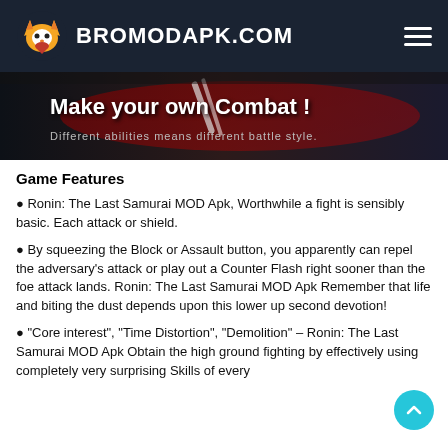BROMODAPK.COM
[Figure (screenshot): Game banner image showing 'Make your own Combat!' text with dark action game background]
Game Features
Ronin: The Last Samurai MOD Apk, Worthwhile a fight is sensibly basic. Each attack or shield.
By squeezing the Block or Assault button, you apparently can repel the adversary's attack or play out a Counter Flash right sooner than the foe attack lands. Ronin: The Last Samurai MOD Apk Remember that life and biting the dust depends upon this lower up second devotion!
“Core interest”, “Time Distortion”, “Demolition” – Ronin: The Last Samurai MOD Apk Obtain the high ground fighting by effectively using completely very surprising Skills of every